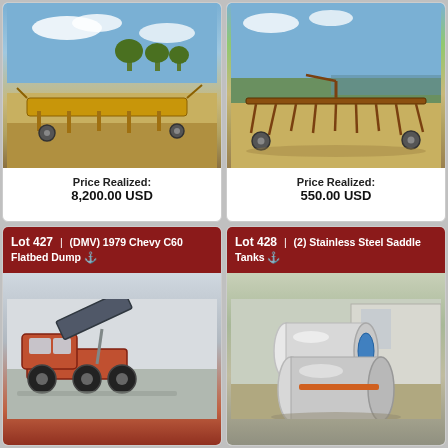[Figure (photo): Farm equipment / harvester header lying on sandy ground with blue sky and trees in background]
Price Realized:
8,200.00 USD
[Figure (photo): Old rusted farm cultivator/toolbar implement on sandy ground near water with blue sky]
Price Realized:
550.00 USD
Lot 427 | (DMV) 1979 Chevy C60 Flatbed Dump
[Figure (photo): Red 1979 Chevy C60 flatbed dump truck with bed raised, photographed outdoors]
Lot 428 | (2) Stainless Steel Saddle Tanks
[Figure (photo): Two stainless steel saddle tanks lying on ground outdoors near a building]